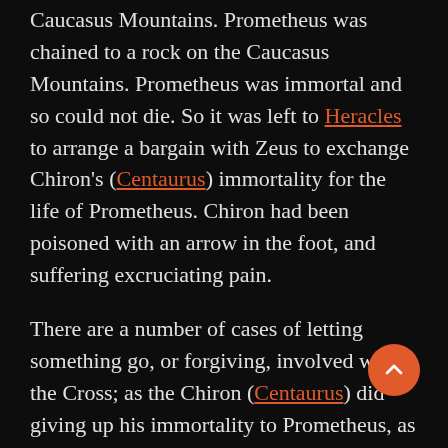Caucasus Mountains. Prometheus was chained to a rock on the Caucasus Mountains. Prometheus was immortal and so could not die. So it was left to Heracles to arrange a bargain with Zeus to exchange Chiron's (Centaurus) immortality for the life of Prometheus. Chiron had been poisoned with an arrow in the foot, and suffering excruciating pain.
There are a number of cases of letting something go, or forgiving, involved with the Cross; as the Chiron (Centaurus) did [by] giving up his immortality to Prometheus, as